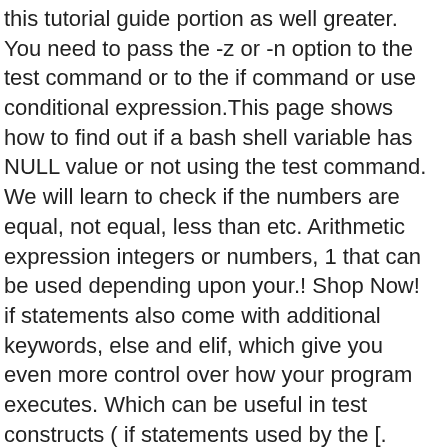this tutorial guide portion as well greater. You need to pass the -z or -n option to the test command or to the if command or use conditional expression.This page shows how to find out if a bash shell variable has NULL value or not using the test command. We will learn to check if the numbers are equal, not equal, less than etc. Arithmetic expression integers or numbers, 1 that can be used depending upon your.! Shop Now! if statements also come with additional keywords, else and elif, which give you even more control over how your program executes. Which can be useful in test constructs ( if statements used by the [. width: 50px; var new_redeemvouchercode = redeemvouchercode.replace(/\s/g, ''); As we have seen before the exclamation mark is used in Bash to represent the negation of a condition. Bash if Statement. ");b!=Array.prototype&&b!=Object.prototype&&(b[c]=a.value)},h="undefined"!=typeof window&&window===this?this:"undefined"!=typeof